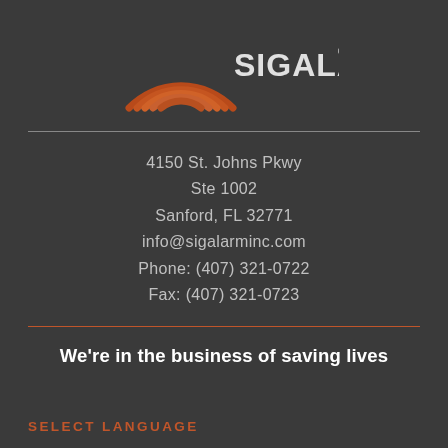[Figure (logo): SIGALARM logo with orange concentric arcs and SIGALARM® text]
4150 St. Johns Pkwy
Ste 1002
Sanford, FL 32771
info@sigalarminc.com
Phone: (407) 321-0722
Fax: (407) 321-0723
We're in the business of saving lives
SELECT LANGUAGE